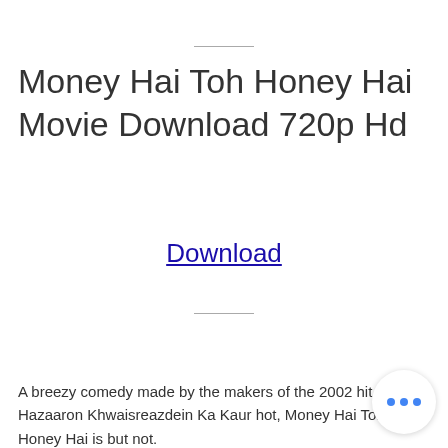Money Hai Toh Honey Hai Movie Download 720p Hd
Download
A breezy comedy made by the makers of the 2002 hit Hazaaron Khwaisreazdein Ka Kaur hot, Money Hai Toh Honey Hai is but not.